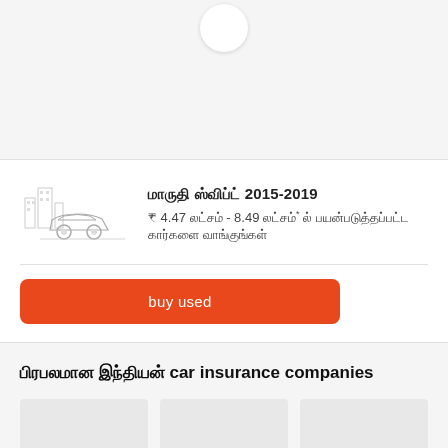[Figure (illustration): Spinner/loading circle partially visible at top center]
[Figure (illustration): Line drawing of a sedan car with city buildings silhouette in background]
மாருதி ஸ்விப்ட் 2015-2019
₹ 4.47 லட்சம் - 8.49 லட்சம்* ல் பயன்படுத்தப்பட்ட கார்களை வாங்குங்கள்
buy used
பிரபலமான இந்தியன் car insurance companies
[Figure (logo): Three insurance company logo placeholders (grey boxes)]